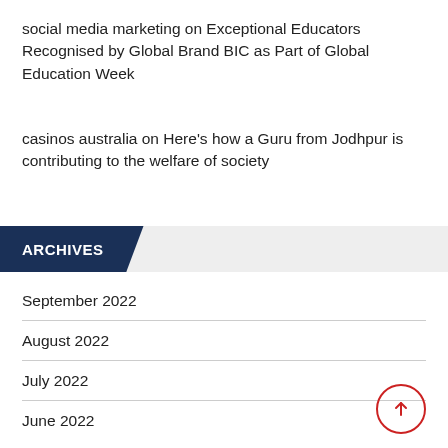social media marketing on Exceptional Educators Recognised by Global Brand BIC as Part of Global Education Week
casinos australia on Here's how a Guru from Jodhpur is contributing to the welfare of society
ARCHIVES
September 2022
August 2022
July 2022
June 2022